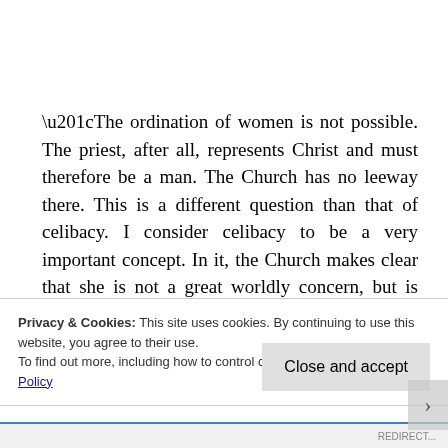“The ordination of women is not possible. The priest, after all, represents Christ and must therefore be a man. The Church has no leeway there. This is a different question than that of celibacy. I consider celibacy to be a very important concept. In it, the Church makes clear that she is not a great worldly concern, but is built on a different foundation. But there have
Privacy & Cookies: This site uses cookies. By continuing to use this website, you agree to their use.
To find out more, including how to control cookies, see here: Cookie Policy
Close and accept